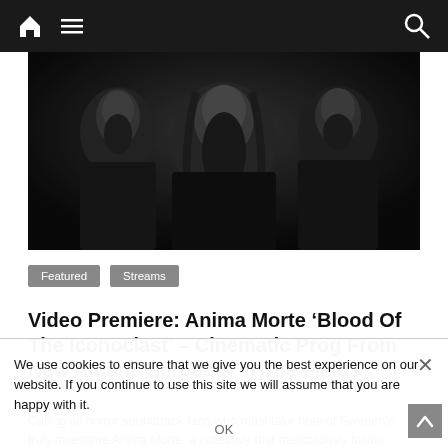Navigation bar with home icon, menu icon, and search icon
[Figure (photo): Black and white photo of three bearded men in dark clothing against a dark background, looking intensely at camera]
Featured   Streams
Video Premiere: Anima Morte ‘Blood Of The Iconoclast’ – Cinematic Prog From New Album ‘Serpents In The Fields’
Calling all horror soundtrack fans who must take note of Sweden’s truly awesome Anima Morte, a collective that meticulously follow
We use cookies to ensure that we give you the best experience on our website. If you continue to use this site we will assume that you are happy with it. OK